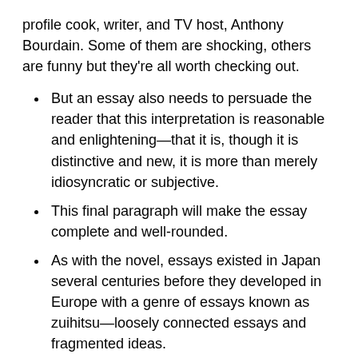profile cook, writer, and TV host, Anthony Bourdain. Some of them are shocking, others are funny but they're all worth checking out.
But an essay also needs to persuade the reader that this interpretation is reasonable and enlightening—that it is, though it is distinctive and new, it is more than merely idiosyncratic or subjective.
This final paragraph will make the essay complete and well-rounded.
As with the novel, essays existed in Japan several centuries before they developed in Europe with a genre of essays known as zuihitsu—loosely connected essays and fragmented ideas.
While some may argue that the Greek hero is responsible for his misfortunes, the paper suggests that fate is responsible for what transpires in the play.
Her favorite book is the Steinbeck classic, East of Eden.